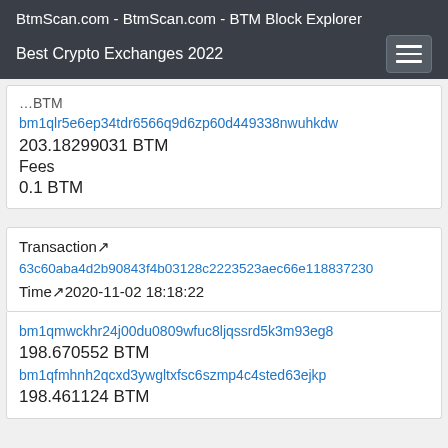BtmScan.com - BtmScan.com - BTM Block Explorer
Best Crypto Exchanges 2022
…BTM (partial, cropped top)
bm1qlr5e6ep34tdr6566q9d6zp60d449338nwuhkdw
203.18299031 BTM
Fees
0.1 BTM
Transaction↗ 63c60aba4d2b90843f4b03128c2223523aec66e118837230
Time↗2020-11-02 18:18:22
bm1qmwckhr24j00du0809wfuc8ljqssrd5k3m93eg8
198.670552 BTM
bm1qfmhnh2qcxd3ywgltxfsc6szmp4c4sted63ejkp
198.461124 BTM